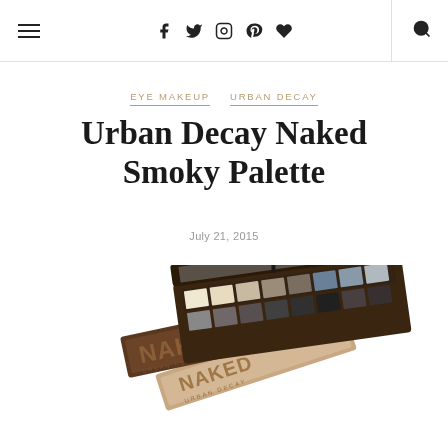Navigation bar with hamburger menu, social icons (f, twitter, instagram, pinterest, heart), divider, and search icon
EYE MAKEUP  URBAN DECAY
Urban Decay Naked Smoky Palette
July 21, 2015
[Figure (photo): Three Urban Decay Naked eye shadow palettes fanned out - showing the open Naked Smoky palette on top with smoky shades, and two closed Naked palette boxes below in brown and rose gold colors]